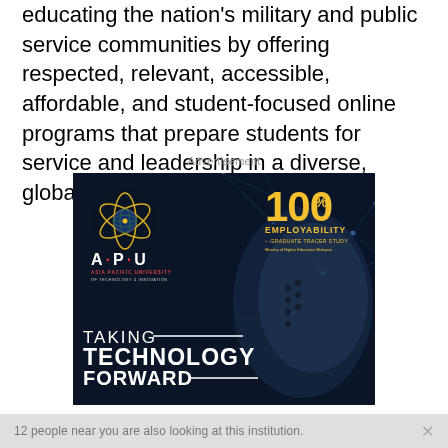educating the nation's military and public service communities by offering respected, relevant, accessible, affordable, and student-focused online programs that prepare students for service and leadership in a diverse, global society.
Advertisement
[Figure (illustration): Asia Pacific University (APU) advertisement banner featuring a robot/AI face profile on a dark blue background with network lines, showing the APU logo (atom-style icon with A·P·U text and 'ASIA PACIFIC UNIVERSITY OF TECHNOLOGY & INNOVATION' tagline), '100% EMPLOYABILITY - GRADUATE TRACER STUDY Ministry of Higher Education Malaysia' text, and 'TAKING TECHNOLOGY FORWARD' slogan.]
12 people near you are also looking at this institution.